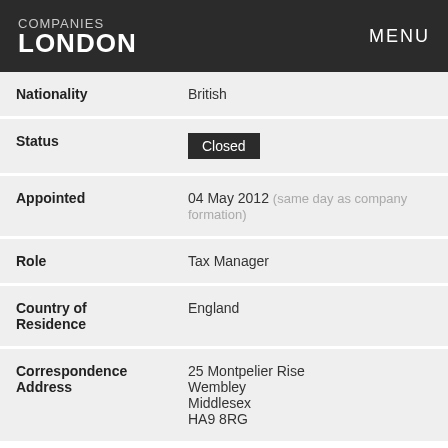COMPANIES LONDON | MENU
| Field | Value |
| --- | --- |
| Nationality | British |
| Status | Closed |
| Appointed | 04 May 2012 (same day as company formation) |
| Role | Tax Manager |
| Country of Residence | England |
| Correspondence Address | 25 Montpelier Rise
Wembley
Middlesex
HA9 8RG |